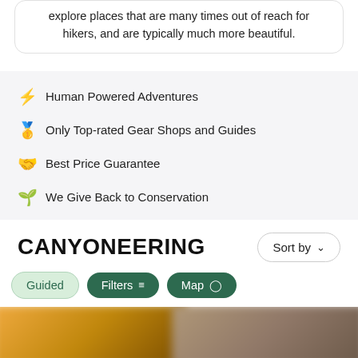explore places that are many times out of reach for hikers, and are typically much more beautiful.
⚡ Human Powered Adventures
🥇 Only Top-rated Gear Shops and Guides
🤝 Best Price Guarantee
🌱 We Give Back to Conservation
CANYONEERING
Sort by
Guided | Filters | Map
[Figure (photo): Blurred image thumbnails at bottom of page, showing two partially visible outdoor/nature scenes]